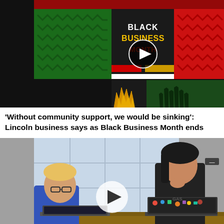[Figure (screenshot): Video thumbnail showing Black Business Month graphic with red, green, gold colors, zigzag patterns, 'BLACK BUSINESS MONTH' text, play button in center, raised hands silhouette]
'Without community support, we would be sinking': Lincoln business says as Black Business Month ends
[Figure (photo): Video thumbnail showing two children working on laptops at a table, play button overlay in center, mute icon in bottom right]